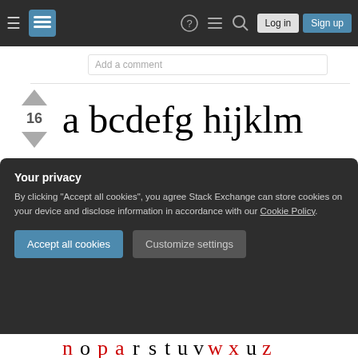Stack Exchange navigation bar with hamburger menu, logo, help, chat, search icons, Log in and Sign up buttons
Add a comment
[Figure (illustration): Handwritten-style lowercase alphabet: a b c d e f g h i j k l m, followed by n o p q r s t u v w x y z, then uppercase A B C D E F G H I J K L M, then N O P Q R S T U V W X Y Z, and a partial colored row at the bottom]
Your privacy
By clicking "Accept all cookies", you agree Stack Exchange can store cookies on your device and disclose information in accordance with our Cookie Policy.
Accept all cookies
Customize settings